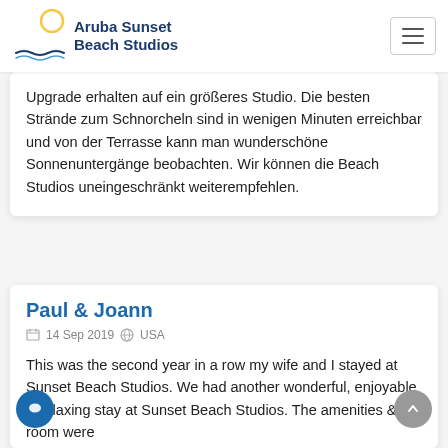[Figure (logo): Aruba Sunset Beach Studios logo with sun circle and wave underline]
Upgrade erhalten auf ein größeres Studio. Die besten Strände zum Schnorcheln sind in wenigen Minuten erreichbar und von der Terrasse kann man wunderschöne Sonnenuntergänge beobachten. Wir können die Beach Studios uneingeschränkt weiterempfehlen.
Paul & Joann
14 Sep 2019  USA
This was the second year in a row my wife and I stayed at Sunset Beach Studios. We had another wonderful, enjoyable & relaxing stay at Sunset Beach Studios. The amenities & room were